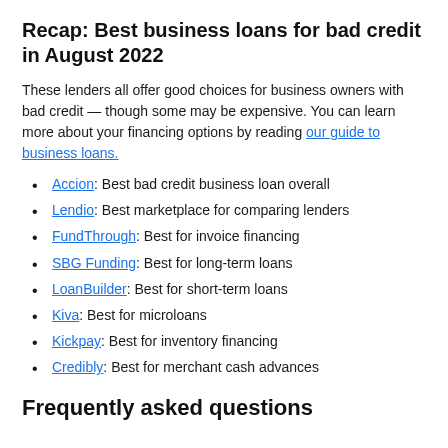Recap: Best business loans for bad credit in August 2022
These lenders all offer good choices for business owners with bad credit — though some may be expensive. You can learn more about your financing options by reading our guide to business loans.
Accion: Best bad credit business loan overall
Lendio: Best marketplace for comparing lenders
FundThrough: Best for invoice financing
SBG Funding: Best for long-term loans
LoanBuilder: Best for short-term loans
Kiva: Best for microloans
Kickpay: Best for inventory financing
Credibly: Best for merchant cash advances
Frequently asked questions